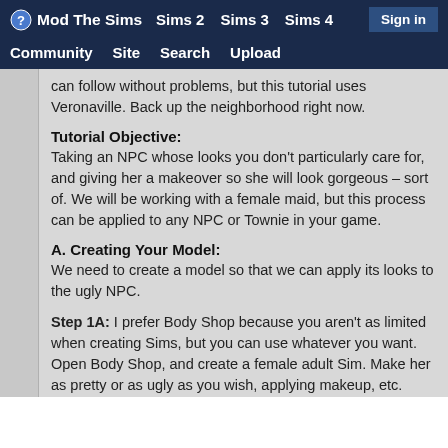Mod The Sims   Sims 2   Sims 3   Sims 4   Sign in   Community   Site   Search   Upload
can follow without problems, but this tutorial uses Veronaville. Back up the neighborhood right now.
Tutorial Objective:
Taking an NPC whose looks you don't particularly care for, and giving her a makeover so she will look gorgeous – sort of. We will be working with a female maid, but this process can be applied to any NPC or Townie in your game.
A. Creating Your Model:
We need to create a model so that we can apply its looks to the ugly NPC.
Step 1A: I prefer Body Shop because you aren't as limited when creating Sims, but you can use whatever you want. Open Body Shop, and create a female adult Sim. Make her as pretty or as ugly as you wish, applying makeup, etc. Once you're done with your Sim, save her and exit Body Shop.
Step 2A: Start The Sims 2 (doesn't matter if you have or